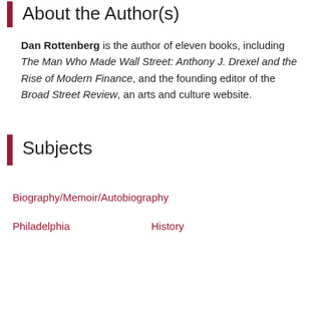About the Author(s)
Dan Rottenberg is the author of eleven books, including The Man Who Made Wall Street: Anthony J. Drexel and the Rise of Modern Finance, and the founding editor of the Broad Street Review, an arts and culture website.
Subjects
Biography/Memoir/Autobiography
Philadelphia
History